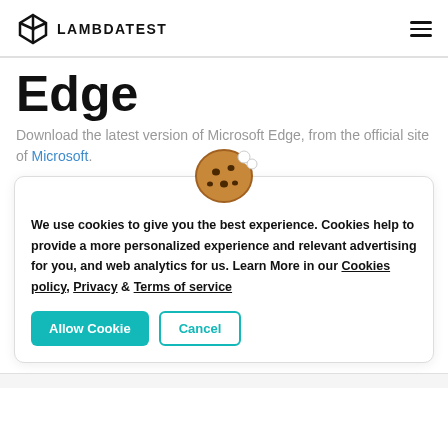LAMBDATEST
Edge
Download the latest version of Microsoft Edge, from the official site of Microsoft.
[Figure (illustration): Cookie emoji illustration - brown cookie with chocolate chips and a bite taken out]
We use cookies to give you the best experience. Cookies help to provide a more personalized experience and relevant advertising for you, and web analytics for us. Learn More in our Cookies policy, Privacy & Terms of service
Allow Cookie  Cancel